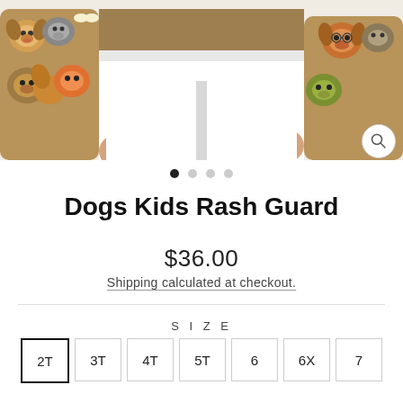[Figure (photo): Child wearing a Dogs Kids Rash Guard with cartoon dog pattern on sleeves and white pants/lower body. Image is cropped showing torso and arms only. Carousel navigation dots visible below image with first dot active. Zoom/magnify button visible at right.]
Dogs Kids Rash Guard
$36.00
Shipping calculated at checkout.
SIZE
2T  3T  4T  5T  6  6X  7